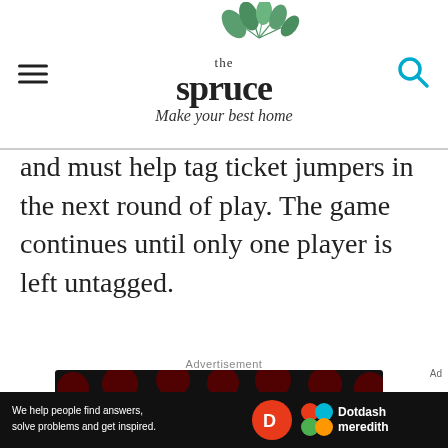the spruce — Make your best home
and must help tag ticket jumpers in the next round of play. The game continues until only one player is left untagged.
Advertisement
[Figure (screenshot): Advertisement banner with black background and dark red polka dots. Text reads: 'We help people find answers, solve problems and get inspired. LEARN MORE' with Dotdash and Meredith logos.]
[Figure (screenshot): Bottom sticky ad bar with black background. Text: 'We help people find answers, solve problems and get inspired.' with Dotdash D logo and Dotdash meredith logo.]